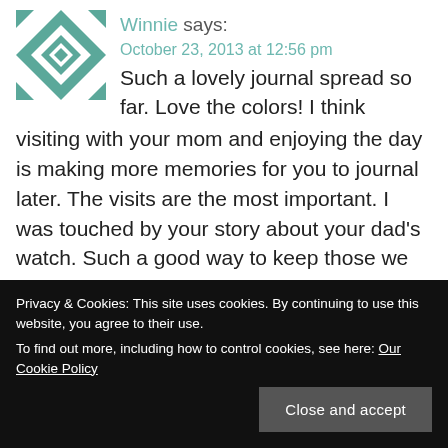Winnie says:
Such a lovely journal spread so far. Love the colors! I think visiting with your mom and enjoying the day is making more memories for you to journal later. The visits are the most important. I was touched by your story about your dad's watch. Such a good way to keep those we love with us. Thanks for sharing that! Winnie#72
October 23, 2013 at 12:56 pm
Privacy & Cookies: This site uses cookies. By continuing to use this website, you agree to their use.
To find out more, including how to control cookies, see here: Our Cookie Policy
Close and accept